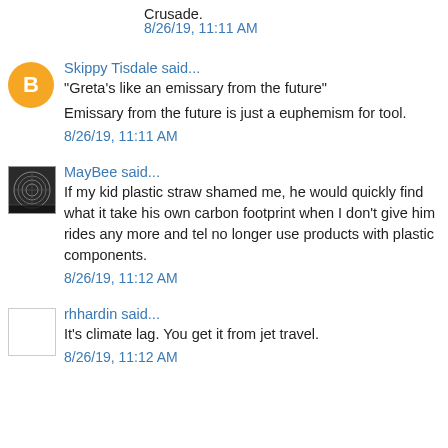Crusade.
8/26/19, 11:11 AM
Skippy Tisdale said...
"Greta's like an emissary from the future"
Emissary from the future is just a euphemism for tool.
8/26/19, 11:11 AM
MayBee said...
If my kid plastic straw shamed me, he would quickly find what it takes to reduce his own carbon footprint when I don't give him rides any more and tell him I no longer use products with plastic components.
8/26/19, 11:12 AM
rhhardin said...
It's climate lag. You get it from jet travel.
8/26/19, 11:12 AM